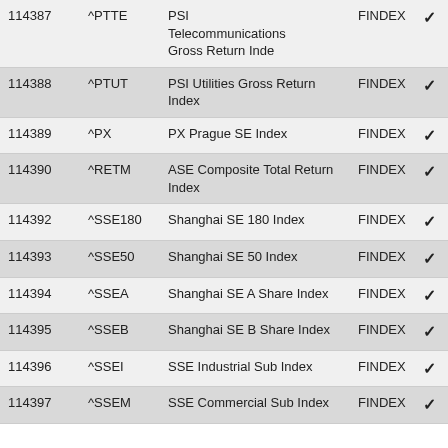| ID | Symbol | Name | Source |  |
| --- | --- | --- | --- | --- |
| 114387 | ^PTTE | PSI Telecommunications Gross Return Inde | FINDEX | ✓ |
| 114388 | ^PTUT | PSI Utilities Gross Return Index | FINDEX | ✓ |
| 114389 | ^PX | PX Prague SE Index | FINDEX | ✓ |
| 114390 | ^RETM | ASE Composite Total Return Index | FINDEX | ✓ |
| 114392 | ^SSE180 | Shanghai SE 180 Index | FINDEX | ✓ |
| 114393 | ^SSE50 | Shanghai SE 50 Index | FINDEX | ✓ |
| 114394 | ^SSEA | Shanghai SE A Share Index | FINDEX | ✓ |
| 114395 | ^SSEB | Shanghai SE B Share Index | FINDEX | ✓ |
| 114396 | ^SSEI | SSE Industrial Sub Index | FINDEX | ✓ |
| 114397 | ^SSEM | SSE Commercial Sub Index | FINDEX | ✓ |